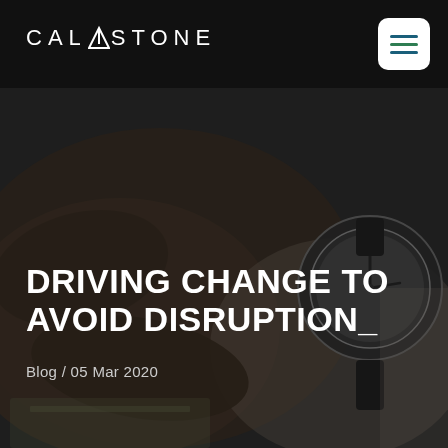[Figure (logo): Calastone logo in white text on black header bar with mountain/caret symbol between CAL and STONE]
[Figure (other): Hamburger menu icon button with three colored horizontal lines (blue, green, blue) on white rounded square background]
[Figure (photo): Dark-toned hero photo of hands with a watch, currency notes visible in background]
DRIVING CHANGE TO AVOID DISRUPTION_
Blog / 05 Mar 2020